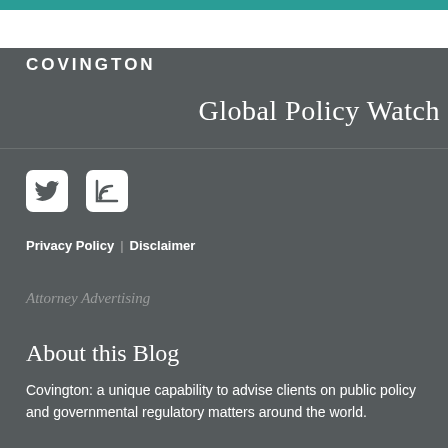COVINGTON
Global Policy Watch
[Figure (logo): Twitter bird icon and RSS feed icon as white social media buttons in white rounded square boxes]
Privacy Policy | Disclaimer
Attorney Advertising
About this Blog
Covington: a unique capability to advise clients on public policy and governmental regulatory matters around the world.